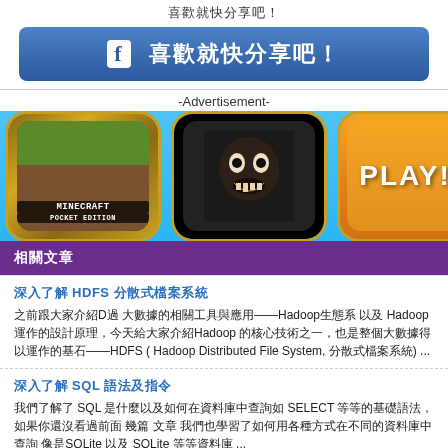喜歡就快分享吧！
[Figure (screenshot): Facebook share button with Chinese text '喜歡就快分享吧！']
-Advertisement-
[Figure (screenshot): Advertisement banner with Minecraft, horror game, and PLAY! app icons on blue background]
相關文章
深入了解 HDFS 分散式檔案系統
之前跟大家介紹D過 大數據的相關工具與應用——Hadoop生態系 以及 Hadoop 運作的設計原理，今天給大家介紹Hadoop 的核心技術之一，也是整個大數據得以運作的基石——HDFS ( Hadoop Distributed File System, 分散式檔案系統) ...
深入了解 SQL 語法及指令
我們了解了 SQL 是什麼以及如何在資料庫中查詢如 SELECT 等等的基礎語法，如果你還沒看過前面 幾篇 文章 我們也學習了如何用各種方式在不同的資料庫中查詢 像是SQLite 以及 SQLite 等等資料庫 ...
深入了解 SQL CREATE TABLE 語法